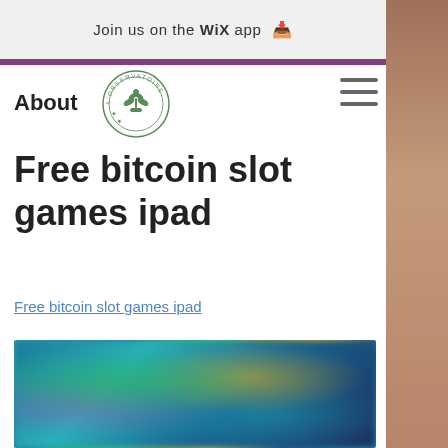Join us on the WiX app
About
[Figure (logo): Circular stamp logo reading L'OBSERVATOIRE with plant/crown illustration in green]
Free bitcoin slot games ipad
Free bitcoin slot games ipad
[Figure (screenshot): Blurred screenshot of a slot games app showing colorful characters and game tiles in teal, green, and gold colors]